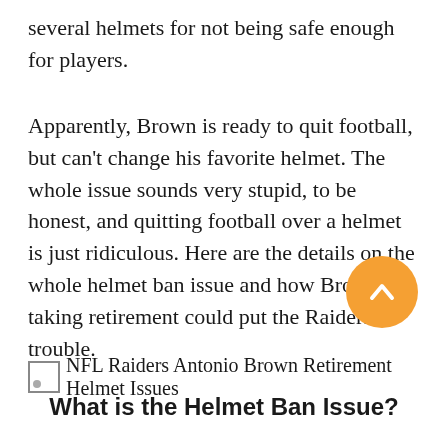several helmets for not being safe enough for players.
Apparently, Brown is ready to quit football, but can't change his favorite helmet. The whole issue sounds very stupid, to be honest, and quitting football over a helmet is just ridiculous. Here are the details on the whole helmet ban issue and how Brown taking retirement could put the Raiders in trouble.
What is the Helmet Ban Issue?
[Figure (photo): Image of NFL Raiders Antonio Brown Retirement Helmet Issues with a small placeholder icon]